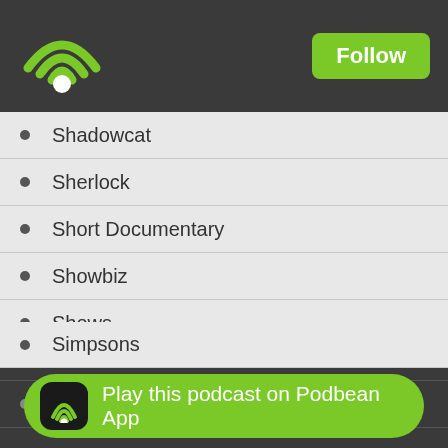Podbean app header with logo and Follow button
Shadowcat
Sherlock
Short Documentary
Showbiz
Shows
Signal to Noise
Silicon Valley
Simpsons
Sitcoms
Sit...
Play this podcast on Podbean App